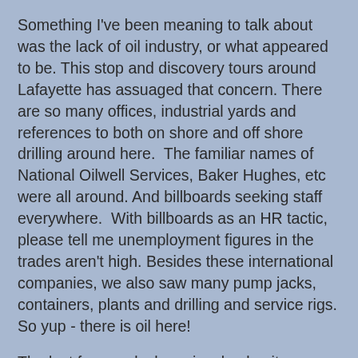Something I've been meaning to talk about was the lack of oil industry, or what appeared to be. This stop and discovery tours around Lafayette has assuaged that concern. There are so many offices, industrial yards and references to both on shore and off shore drilling around here.  The familiar names of National Oilwell Services, Baker Hughes, etc were all around. And billboards seeking staff everywhere.  With billboards as an HR tactic,  please tell me unemployment figures in the trades aren't high. Besides these international companies, we also saw many pump jacks, containers, plants and drilling and service rigs. So yup - there is oil here!
The last few weeks have involved quite a heavy Yahtzee competition in our household, and I'm on a successful roll right now. I always feel Don ends up a bit further ahead of the game, but lately not so. Although if you recall last year I did a tally of the previous 2 years of scores and a win/loss summary, and we we were even. Some other non interesting facts about life?  I have kept up my weight training exercises throughout the holiday, and although I sometimes think I'm making no progress, I know better. Muscle growth doesn't lie. Our steps have been ok, not spectacular, but still on target